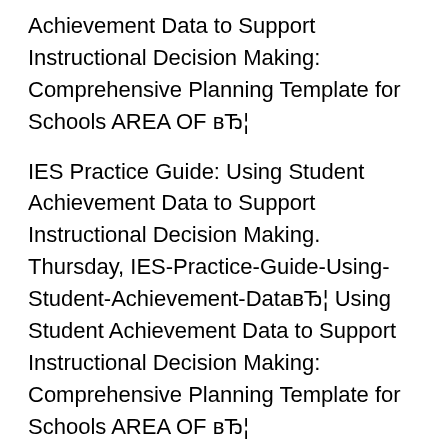Achievement Data to Support Instructional Decision Making: Comprehensive Planning Template for Schools AREA OF вЂ¦
IES Practice Guide: Using Student Achievement Data to Support Instructional Decision Making. Thursday, IES-Practice-Guide-Using-Student-Achievement-DataвЂ¦ Using Student Achievement Data to Support Instructional Decision Making: Comprehensive Planning Template for Schools AREA OF вЂ¦
Technology is taking differentiated instruction in education to a new level in terms of being responsive to student needs. Technology is making it easier than ever for teachers to have real-time data to support instructional decision-